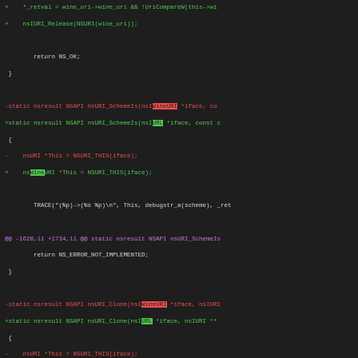[Figure (screenshot): Code diff view showing changes in C/C++ source code related to nsWineURI to nsIURL refactoring, with green additions (+) and red deletions (-), and highlighted identifiers showing changed symbol names.]